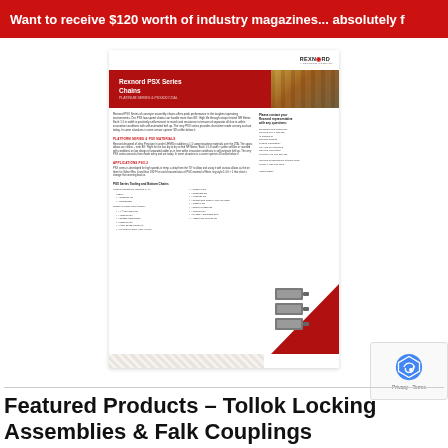Want to receive $120 worth of industry magazines... absolutely f
[Figure (illustration): Rexnord PSX Series Chains product datasheet thumbnail showing red header with product title, conveyor belt photo, body text, specifications list, chain component photo, and decorative pattern strip]
[Figure (logo): reCAPTCHA badge with Privacy and Terms links]
Featured Products – Tollok Locking Assemblies & Falk Couplings